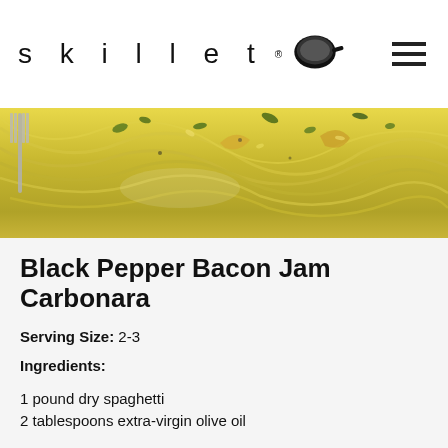skillet
[Figure (photo): Close-up photo of spaghetti carbonara with herbs and fork on a plate]
Black Pepper Bacon Jam Carbonara
Serving Size: 2-3
Ingredients:
1 pound dry spaghetti
2 tablespoons extra-virgin olive oil